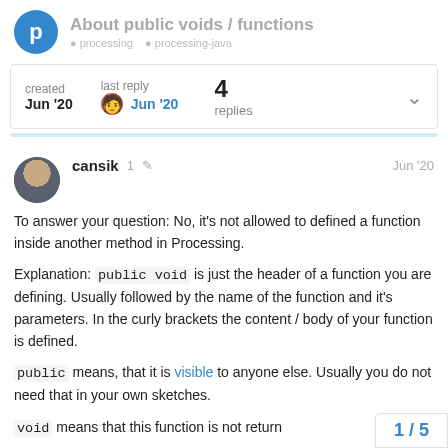About public voids / functions
| created | last reply | replies |
| --- | --- | --- |
| Jun '20 | Jun '20 | 4 |
cansik  1  Jun '20
To answer your question: No, it's not allowed to defined a function inside another method in Processing.
Explanation: public void is just the header of a function you are defining. Usually followed by the name of the function and it's parameters. In the curly brackets the content / body of your function is defined.
public means, that it is visible to anyone else. Usually you do not need that in your own sketches.
void means that this function is not return
1 / 5